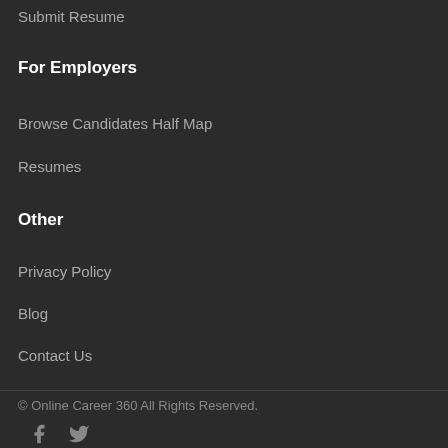Submit Resume
For Employers
Browse Candidates Half Map
Resumes
Other
Privacy Policy
Blog
Contact Us
© Online Career 360 All Rights Reserved.